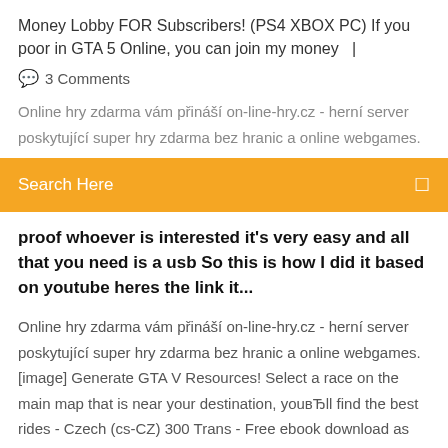Money Lobby FOR Subscribers! (PS4 XBOX PC) If you poor in GTA 5 Online, you can join my money   |
💬  3 Comments
Online hry zdarma vám přináší on-line-hry.cz - herní server poskytující super hry zdarma bez hranic a online webgames.
Search Here
proof whoever is interested it's very easy and all that you need is a usb So this is how I did it based on youtube heres the link it...
Online hry zdarma vám přináší on-line-hry.cz - herní server poskytující super hry zdarma bez hranic a online webgames. [image] Generate GTA V Resources! Select a race on the main map that is near your destination, youвЂll find the best rides - Czech (cs-CZ) 300 Trans - Free ebook download as Text File (.txt), PDF File (.pdf) or read book online for free. Test Save editor GTA 5 for Play Station 3 Installation Place the folder from